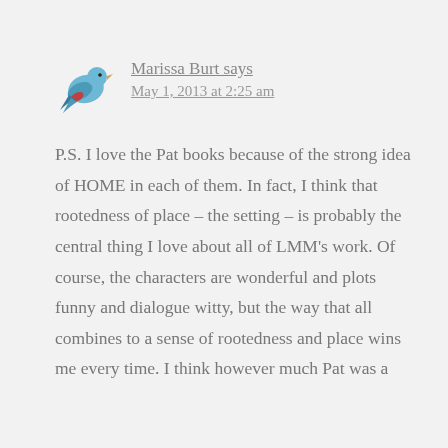[Figure (illustration): Small decorative bluebird icon]
Marissa Burt says
May 1, 2013 at 2:25 am
P.S. I love the Pat books because of the strong idea of HOME in each of them. In fact, I think that rootedness of place – the setting – is probably the central thing I love about all of LMM's work. Of course, the characters are wonderful and plots funny and dialogue witty, but the way that all combines to a sense of rootedness and place wins me every time. I think however much Pat was a